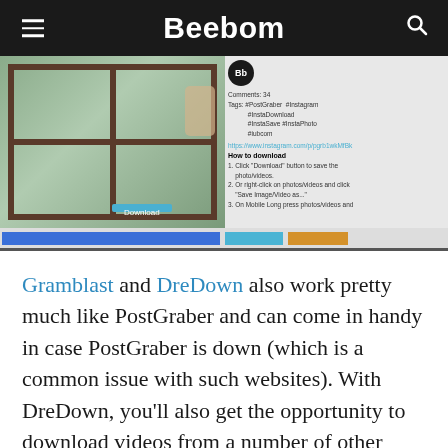Beebom
[Figure (screenshot): Screenshot of a PostGraber/Instagram downloader website showing a window photo being downloaded, with a Download button and sidebar showing tags, comments count, and how-to-download instructions. Bottom shows navigation bar elements.]
Gramblast and DreDown also work pretty much like PostGraber and can come in handy in case PostGraber is down (which is a common issue with such websites). With DreDown, you’ll also get the opportunity to download videos from a number of other platforms, including YouTube, Facebook, Twitter, Twitch, Tumblr, Vimeo, etc. The process of downloading the videos will remain the same – Copy